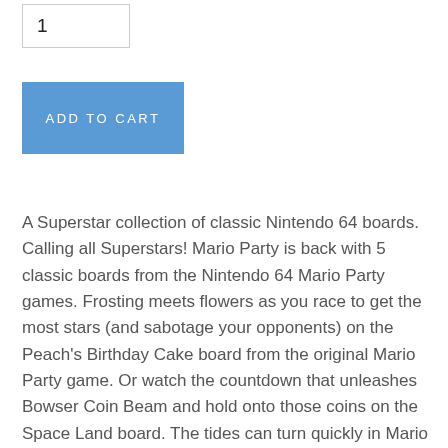[Figure (other): Quantity input box showing value 1]
[Figure (other): Blue Add to Cart button]
A Superstar collection of classic Nintendo 64 boards. Calling all Superstars! Mario Party is back with 5 classic boards from the Nintendo 64 Mario Party games. Frosting meets flowers as you race to get the most stars (and sabotage your opponents) on the Peach's Birthday Cake board from the original Mario Party game. Or watch the countdown that unleashes Bowser Coin Beam and hold onto those coins on the Space Land board. The tides can turn quickly in Mario Party, so stay vigilant, partygoers. This and all other modes can